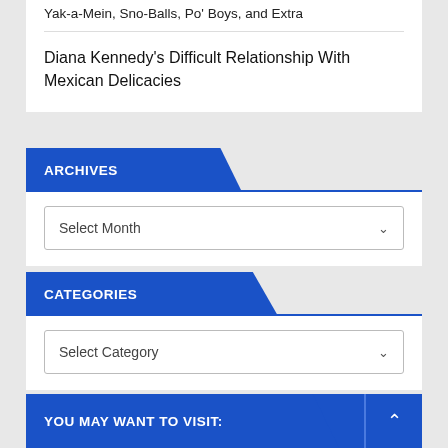Yak-a-Mein, Sno-Balls, Po' Boys, and Extra
Diana Kennedy's Difficult Relationship With Mexican Delicacies
ARCHIVES
[Figure (other): Select Month dropdown UI element]
CATEGORIES
[Figure (other): Select Category dropdown UI element]
YOU MAY WANT TO VISIT: